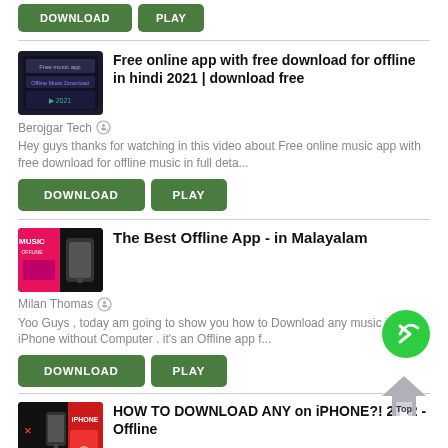[Figure (screenshot): Top partial button row showing DOWNLOAD and PLAY green buttons]
[Figure (screenshot): Thumbnail for 'Free online app with free download for offline in hindi 2021' video]
Free online app with free download for offline in hindi 2021 | download free
Berojgar Tech 🎧
Hey guys thanks for watching in this video about Free online music app with free download for offline music in full deta...
[Figure (screenshot): DOWNLOAD and PLAY green buttons for first card]
[Figure (screenshot): Thumbnail for 'The Best Offline App - in Malayalam' video]
The Best Offline App - in Malayalam
Milan Thomas 🎧
Yoo Guys , today am going to show you how to Download any music in your iPhone without Computer . it's an Offline app f...
[Figure (screenshot): DOWNLOAD and PLAY green buttons for second card]
[Figure (screenshot): Thumbnail for 'HOW TO DOWNLOAD ANY on iPHONE?! 2022 - Offline' video]
HOW TO DOWNLOAD ANY on iPHONE?! 2022 - Offline
FozTech 🎧
HOW TO DOWNLOAD MUSIC on iPHONE?! (2022 - Offline Music) I will show you a free no-computer way to download songs and li...
[Figure (screenshot): DOWNLOAD and PLAY green buttons for third card]